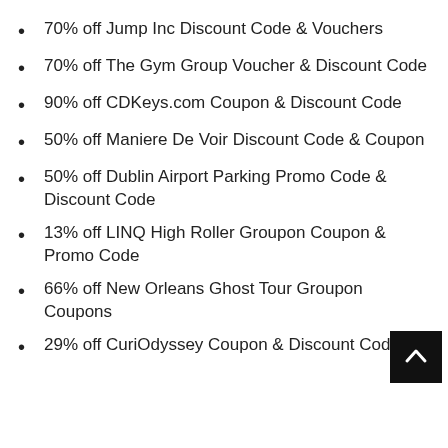70% off Jump Inc Discount Code & Vouchers
70% off The Gym Group Voucher & Discount Code
90% off CDKeys.com Coupon & Discount Code
50% off Maniere De Voir Discount Code & Coupon
50% off Dublin Airport Parking Promo Code & Discount Code
13% off LINQ High Roller Groupon Coupon & Promo Code
66% off New Orleans Ghost Tour Groupon Coupons
29% off CuriOdyssey Coupon & Discount Code